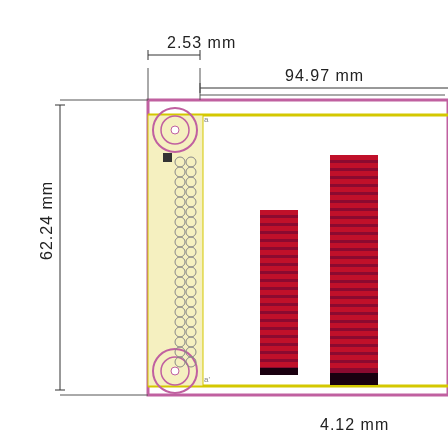[Figure (engineering-diagram): PCB connector engineering schematic showing a board edge connector with two FPC/FFC connector components (striped red/dark patterns). Dimension annotations indicate 2.53 mm horizontal offset, 94.97 mm board width, 62.24 mm board height, and 4.12 mm bottom margin. The board has a yellow outline border, pink/purple outer border, two large circular mounting holes at top-left and bottom-left corners, and a column of small circular pads along the left edge.]